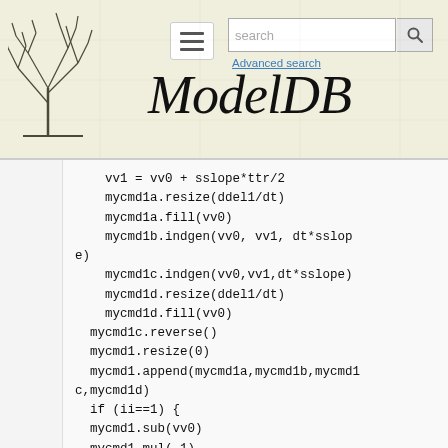ModelDB — Advanced search
vv1 = vv0 + sslope*ttr/2
    mycmd1a.resize(ddel1/dt)
    mycmd1a.fill(vv0)
    mycmd1b.indgen(vv0, vv1, dt*sslope)
    mycmd1c.indgen(vv0,vv1,dt*sslope)
    mycmd1d.resize(ddel1/dt)
    mycmd1d.fill(vv0)
  mycmd1c.reverse()
  mycmd1.resize(0)
  mycmd1.append(mycmd1a,mycmd1b,mycmd1c,mycmd1d)
  if (ii==1) {
  mycmd1.sub(vv0)
  mycmd1.mul(-1)
  mycmd1.add(vv0)
  }

  }